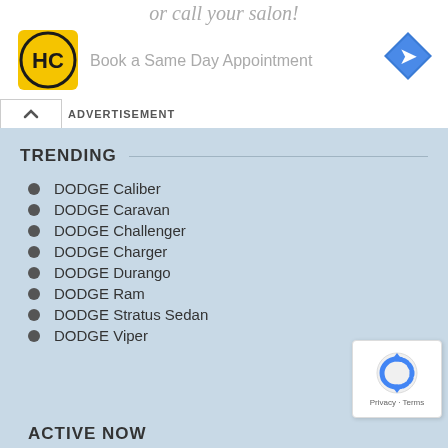or call your salon!
[Figure (logo): HC logo - black and yellow circular logo with HC letters]
Book a Same Day Appointment
[Figure (logo): Blue diamond-shaped navigation/map icon with right-turn arrow]
ADVERTISEMENT
TRENDING
DODGE Caliber
DODGE Caravan
DODGE Challenger
DODGE Charger
DODGE Durango
DODGE Ram
DODGE Stratus Sedan
DODGE Viper
ACTIVE NOW